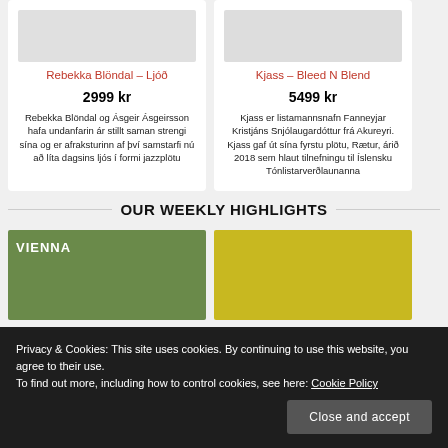[Figure (photo): Product card image placeholder for Rebekka Blöndal – Ljóð (gray background)]
Rebekka Blöndal – Ljóð
2999 kr
Rebekka Blöndal og Ásgeir Ásgeirsson hafa undanfarin ár stillt saman strengi sína og er afraksturinn af því samstarfi nú að líta dagsins ljós í formi jazzplötu
[Figure (photo): Product card image for Kjass – Bleed N Blend showing a hand holding a mesh bag]
Kjass – Bleed N Blend
5499 kr
Kjass er listamannsnafn Fanneyjar Kristjáns Snjólaugardóttur frá Akureyri. Kjass gaf út sína fyrstu plötu, Rætur, árið 2018 sem hlaut tilnefningu til Íslensku Tónlistarverðlaunanna
OUR WEEKLY HIGHLIGHTS
[Figure (photo): Highlight image with green background and VIENNA text overlay]
[Figure (photo): Highlight image with yellow background]
Privacy & Cookies: This site uses cookies. By continuing to use this website, you agree to their use.
To find out more, including how to control cookies, see here: Cookie Policy
Close and accept